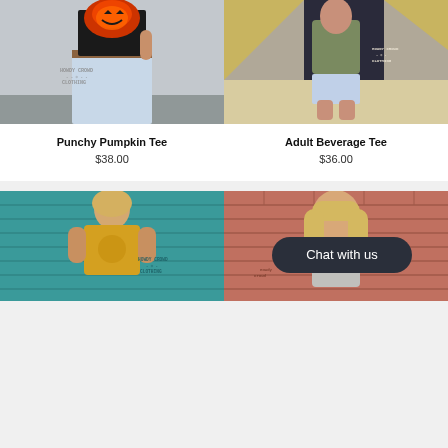[Figure (photo): Person wearing a black tee with a pumpkin hat/bag design, white jeans, standing in front of a concrete wall. Howdy Crowd Clothing branding visible.]
[Figure (photo): Woman in olive/green graphic tee and light denim shorts, standing in front of a painted mural with geometric shapes. Howdy Crowd Clothing branding visible.]
Punchy Pumpkin Tee
$38.00
Adult Beverage Tee
$36.00
[Figure (photo): Blonde woman in yellow/mustard graphic tee standing in front of a teal brick wall. Howdy Crowd Clothing branding visible.]
[Figure (photo): Woman with blonde hair in gray top in front of brick wall, with a dark oval Chat with us button overlay.]
Chat with us